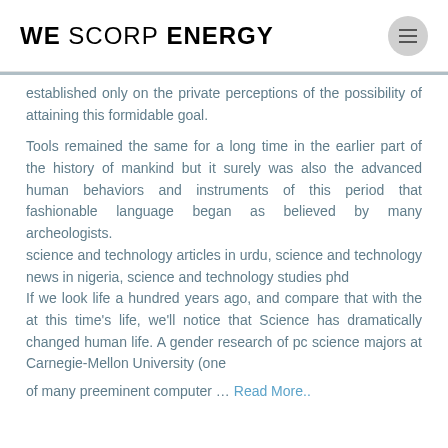WE SCORP ENERGY
established only on the private perceptions of the possibility of attaining this formidable goal.
Tools remained the same for a long time in the earlier part of the history of mankind but it surely was also the advanced human behaviors and instruments of this period that fashionable language began as believed by many archeologists.
science and technology articles in urdu, science and technology news in nigeria, science and technology studies phd
If we look life a hundred years ago, and compare that with the at this time's life, we'll notice that Science has dramatically changed human life. A gender research of pc science majors at Carnegie-Mellon University (one

of many preeminent computer ... Read More..